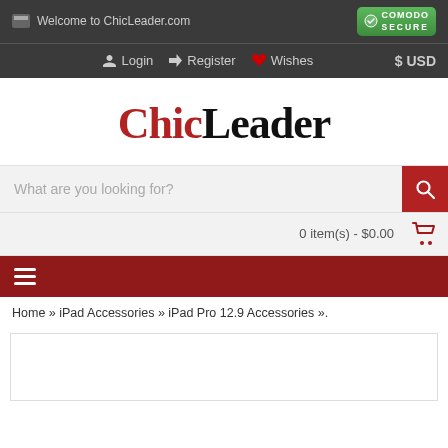Welcome to ChicLeader.com
Login   Register   Wishes   $ USD
ChicLeader
What are you looking for?
0 item(s) - $0.00
Home » iPad Accessories » iPad Pro 12.9 Accessories ».
[Figure (screenshot): Empty product image placeholder box]